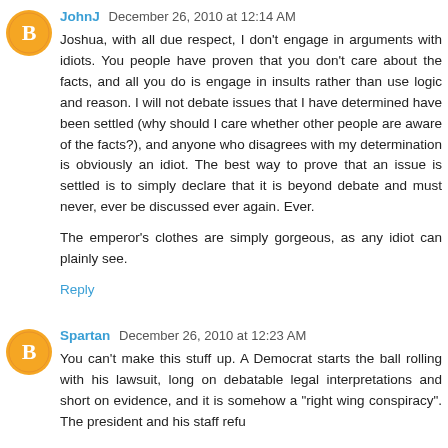JohnJ December 26, 2010 at 12:14 AM
Joshua, with all due respect, I don't engage in arguments with idiots. You people have proven that you don't care about the facts, and all you do is engage in insults rather than use logic and reason. I will not debate issues that I have determined have been settled (why should I care whether other people are aware of the facts?), and anyone who disagrees with my determination is obviously an idiot. The best way to prove that an issue is settled is to simply declare that it is beyond debate and must never, ever be discussed ever again. Ever.
The emperor's clothes are simply gorgeous, as any idiot can plainly see.
Reply
Spartan December 26, 2010 at 12:23 AM
You can't make this stuff up. A Democrat starts the ball rolling with his lawsuit, long on debatable legal interpretations and short on evidence, and it is somehow a "right wing conspiracy". The president and his staff refu...